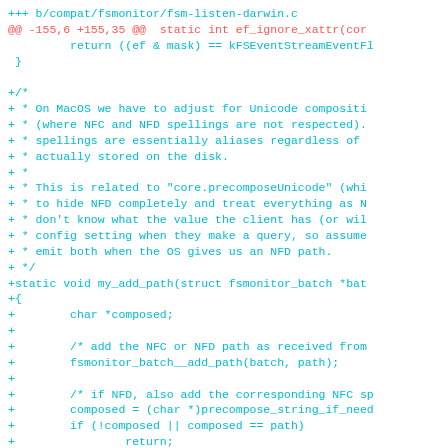[Figure (screenshot): A git diff code snippet showing changes to compat/fsmonitor/fsm-listen-darwin.c. Lines in cyan/teal show added lines (+) with a comment block about MacOS Unicode composition handling and a new static function my_add_path. A red/pink line shows the diff hunk header. Context lines show closing brace of a previous function.]